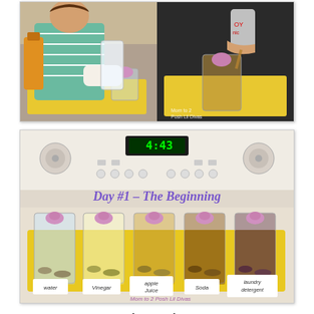[Figure (photo): Child in striped shirt pouring liquid into a glass on a yellow tray, with bottles visible. Split image also showing soda being poured into a glass with a peep marshmallow on a yellow tray.]
[Figure (photo): Five glasses on a yellow tray in front of a stove showing 4:43, each containing a pink Peep marshmallow in a different liquid: water, vinegar, apple juice, soda, laundry detergent. Labeled 'Day #1 - The Beginning'. Watermark: Mom to 2 Posh Lil Divas.]
The Results:
After approx. 3 hrs we saw a few changes, mostly in the coloring of the Peeps. All but the one in water had changed coloring somewhat. The most significant changes were in the